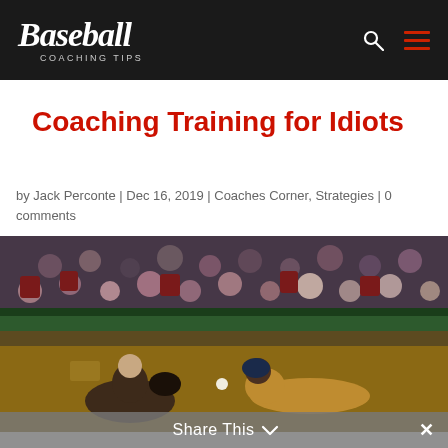Baseball Coaching Tips
Coaching Training for Idiots
by Jack Perconte | Dec 16, 2019 | Coaches Corner, Strategies | 0 comments
[Figure (photo): Baseball player diving into base while fielder attempts to catch ball, with crowd in background at a night game]
Share This